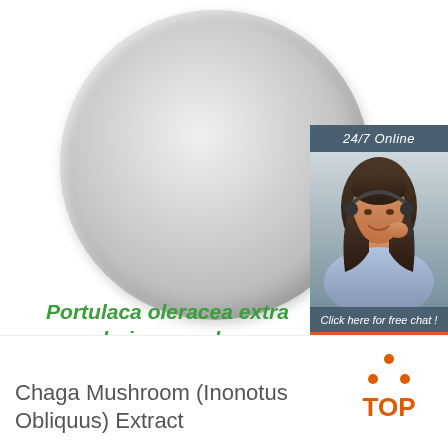[Figure (photo): Circular petri dish or plate containing white/light gray powder (Portulaca oleracea extract spray drying powder / Chaga Mushroom Extract), viewed from above against white background]
[Figure (photo): Side panel showing a female customer service agent wearing a headset, smiling, with overlaid text '24/7 Online', 'Click here for free chat!', and an orange QUOTATION button, set against a dark slate-blue background panel]
Portulaca oleracea extra drying powder
[Figure (logo): TOP logo: orange triangle-shaped icon made of dots above the letters 'TOP' in orange]
Chaga Mushroom (Inonotus Obliquus) Extract